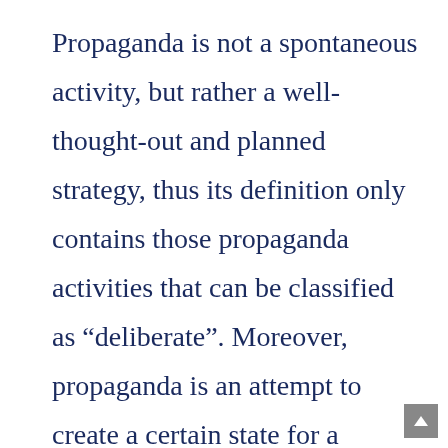Propaganda is not a spontaneous activity, but rather a well-thought-out and planned strategy, thus its definition only contains those propaganda activities that can be classified as “deliberate”. Moreover, propaganda is an attempt to create a certain state for a specific audience towards which the propagandist has clear pre-set aims. Succeeding in this attempt is the goal of propaganda.